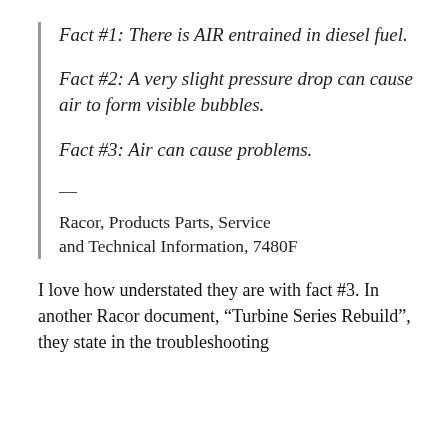Fact #1: There is AIR entrained in diesel fuel.
Fact #2: A very slight pressure drop can cause air to form visible bubbles.
Fact #3: Air can cause problems.
Racor, Products Parts, Service and Technical Information, 7480F
I love how understated they are with fact #3. In another Racor document, “Turbine Series Rebuild”, they state in the troubleshooting